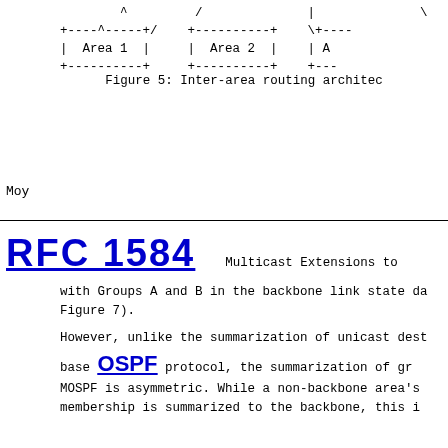[Figure (other): ASCII diagram showing inter-area routing architecture with Area 1, Area 2, and partial Area shown, connected with ASCII box-drawing characters and routing indicators]
Figure 5: Inter-area routing architec
Moy
RFC 1584    Multicast Extensions to
with Groups A and B in the backbone link state da Figure 7).
However, unlike the summarization of unicast dest base OSPF protocol, the summarization of gr MOSPF is asymmetric. While a non-backbone area's membership is summarized to the backbone, this i